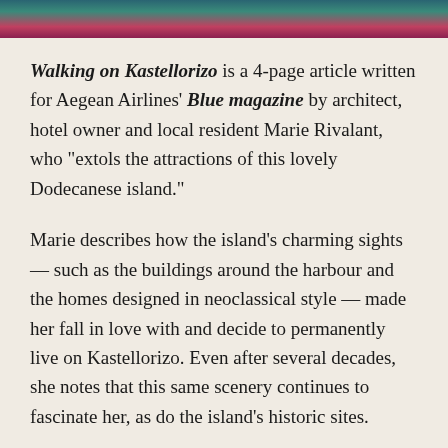[Figure (photo): Partial photograph visible at top of page showing colorful scenery of Kastellorizo island — teal water and pink/magenta flowers or buildings.]
Walking on Kastellorizo is a 4-page article written for Aegean Airlines' Blue magazine by architect, hotel owner and local resident Marie Rivalant, who “extols the attractions of this lovely Dodecanese island.”
Marie describes how the island’s charming sights — such as the buildings around the harbour and the homes designed in neoclassical style — made her fall in love with and decide to permanently live on Kastellorizo. Even after several decades, she notes that this same scenery continues to fascinate her, as do the island’s historic sites.
“Kastellorizo has an abundance of monuments that can guide visitors through the centuries,” she says, listing monasteries, museums, a castle and other not-to-be-